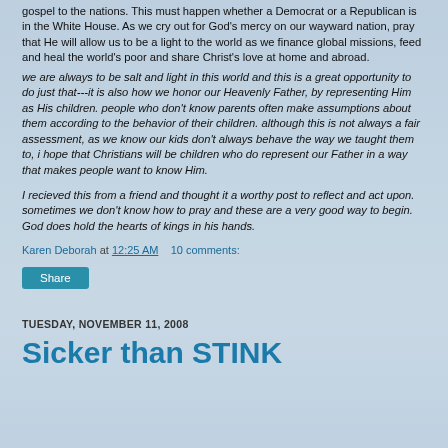gospel to the nations. This must happen whether a Democrat or a Republican is in the White House. As we cry out for God's mercy on our wayward nation, pray that He will allow us to be a light to the world as we finance global missions, feed and heal the world's poor and share Christ's love at home and abroad.
we are always to be salt and light in this world and this is a great opportunity to do just that---it is also how we honor our Heavenly Father, by representing Him as His children. people who don't know parents often make assumptions about them according to the behavior of their children. although this is not always a fair assessment, as we know our kids don't always behave the way we taught them to, i hope that Christians will be children who do represent our Father in a way that makes people want to know Him.
I recieved this from a friend and thought it a worthy post to reflect and act upon. sometimes we don't know how to pray and these are a very good way to begin. God does hold the hearts of kings in his hands.
Karen Deborah at 12:25 AM   10 comments:
Share
TUESDAY, NOVEMBER 11, 2008
Sicker than STINK